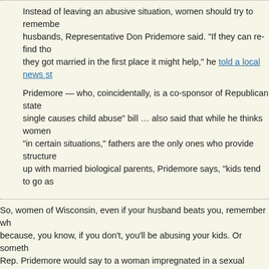Instead of leaving an abusive situation, women should try to remember why they fell in love with their husbands, Representative Don Pridemore said. "If they can re-find those reasons and get back to where they got married in the first place it might help," he told a local news station.
Pridemore — who, coincidentally, is a co-sponsor of Republican state Sen. Glenn Grothman's "being single causes child abuse" bill … also said that while he thinks women can do some things "in certain situations," fathers are the only ones who provide structure and discipline. And if kids grow up with married biological parents, Pridemore says, "kids tend to go astray."
So, women of Wisconsin, even if your husband beats you, remember why you fell in love with him, because, you know, if you don't, you'll be abusing your kids. Or something. I wonder what Rep. Pridemore would say to a woman impregnated in a sexual assault by her husband? My suspicion is that Rep. Pridemore would probably be the sort of fellow who thinks that wives didn't have the right to say "no" to her husband in the first place. Furthermore, what would he say to a woman impregnated by a third-party rapist? I mean, I'm sure he would oppose an abortion, but given that he views single-parenthood as a form of abuse of children, who is she supposed to marry? The rapist? Because, you know, that kid needs a father! According to Rep. Pridemore, that raped mother, by herself, might not be enough, and she might even be guilty of abusing or neglecting the child by failing to get ma
Not to be outdone, a Republican legislator in Kansas compared women with worn tires. Seriously. How and why, you ask? Well, Kansas was debating legislation to ban abortions from being covered as a standard part of an insurance policy. Instead, it would be obtained through an abortion rider that, obviously, only women would